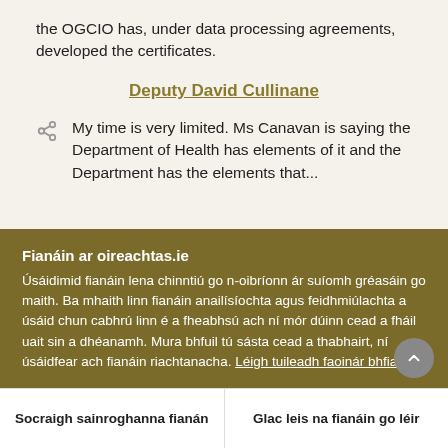the OGCIO has, under data processing agreements, developed the certificates.
Deputy David Cullinane
My time is very limited. Ms Canavan is saying the Department of Health has elements of it and the Department has the elements that...
Fianáin ar oireachtas.ie
Úsáidimid fianáin lena chinntiú go n-oibríonn ár suíomh gréasáin go maith. Ba mhaith linn fianáin anailísíochta agus feidhmiúlachta a úsáid chun cabhrú linn é a fheabhsú ach ní mór dúinn cead a fháil uait sin a dhéanamh. Mura bhfuil tú sásta cead a thabhairt, ní úsáidfear ach fianáin riachtanacha. Léigh tuileadh faoinár bhfianáin
Socraigh sainroghanna fianán
Glac leis na fianáin go léir